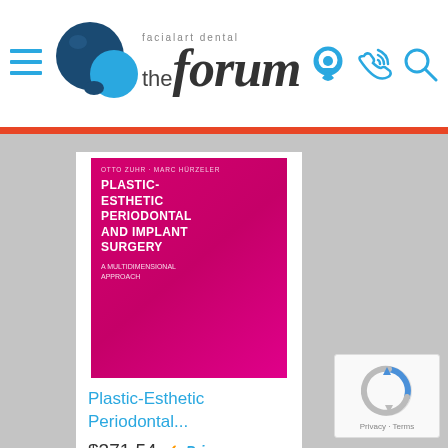[Figure (logo): The Facial Art Dental Forum logo with blue speech bubble icons and stylized text]
[Figure (photo): Book cover for Plastic-Esthetic Periodontal and Implant Surgery, magenta/pink cover]
Plastic-Esthetic Periodontal...
$371.54  Prime
Shop now
[Figure (logo): reCAPTCHA logo badge with Privacy and Terms links]